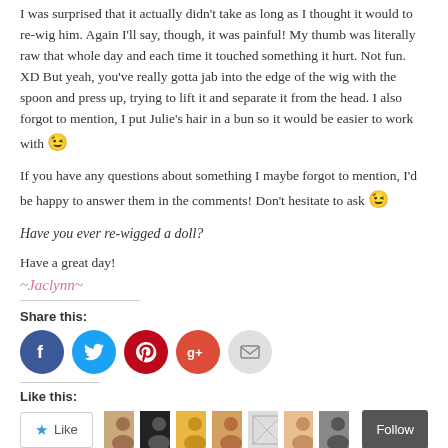I was surprised that it actually didn't take as long as I thought it would to re-wig him. Again I'll say, though, it was painful! My thumb was literally raw that whole day and each time it touched something it hurt. Not fun. XD But yeah, you've really gotta jab into the edge of the wig with the spoon and press up, trying to lift it and separate it from the head. I also forgot to mention, I put Julie's hair in a bun so it would be easier to work with 😉
If you have any questions about something I maybe forgot to mention, I'd be happy to answer them in the comments! Don't hesitate to ask 😉
Have you ever re-wigged a doll?
Have a great day!
~Jaclynn~
Share this:
[Figure (infographic): Social share buttons: Facebook, Twitter, Pinterest, Google+, Email]
Like this:
[Figure (infographic): Like button and follower avatars with Follow button]